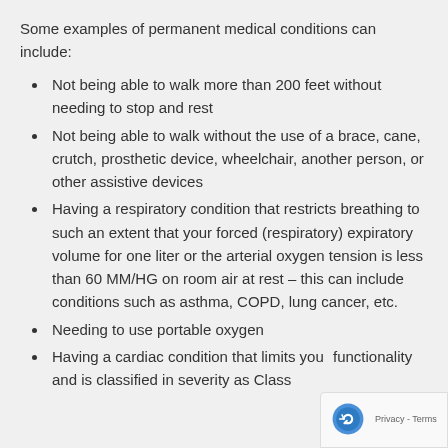Some examples of permanent medical conditions can include:
Not being able to walk more than 200 feet without needing to stop and rest
Not being able to walk without the use of a brace, cane, crutch, prosthetic device, wheelchair, another person, or other assistive devices
Having a respiratory condition that restricts breathing to such an extent that your forced (respiratory) expiratory volume for one liter or the arterial oxygen tension is less than 60 MM/HG on room air at rest – this can include conditions such as asthma, COPD, lung cancer, etc.
Needing to use portable oxygen
Having a cardiac condition that limits your functionality and is classified in severity as Class